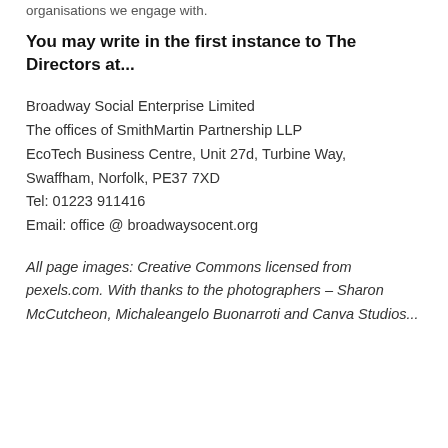organisations we engage with.
You may write in the first instance to The Directors at...
Broadway Social Enterprise Limited
The offices of SmithMartin Partnership LLP
EcoTech Business Centre, Unit 27d, Turbine Way,
Swaffham, Norfolk, PE37 7XD
Tel: 01223 911416
Email: office @ broadwaysocent.org
All page images: Creative Commons licensed from pexels.com. With thanks to the photographers – Sharon McCutcheon, Michaleangelo Buonarroti and Canva Studios...